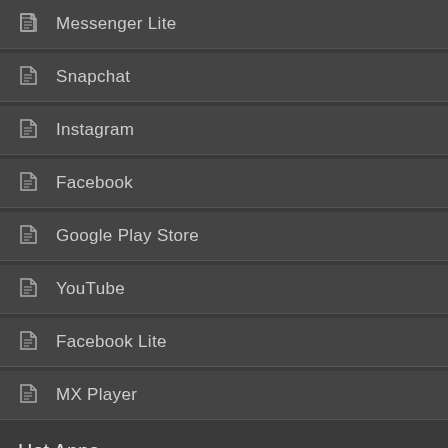Messenger Lite
Snapchat
Instagram
Facebook
Google Play Store
YouTube
Facebook Lite
MX Player
Hot Apps
WhatsApp
Netflix
Telegram